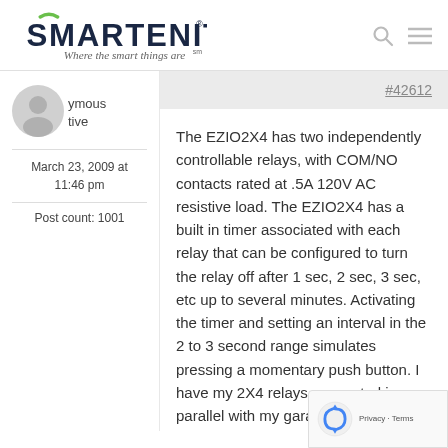[Figure (logo): Smartenit logo with tagline 'Where the smart things are']
[Figure (photo): Anonymous user avatar (grey silhouette icon)]
ymous
tive
March 23, 2009 at 11:46 pm
Post count: 1001
#42612
The EZIO2X4 has two independently controllable relays, with COM/NO contacts rated at .5A 120V AC resistive load. The EZIO2X4 has a built in timer associated with each relay that can be configured to turn the relay off after 1 sec, 2 sec, 3 sec, etc up to several minutes. Activating the timer and setting an interval in the 2 to 3 second range simulates pressing a momentary push button. I have my 2X4 relays connected in parallel with my garage door opener controls, with
[Figure (logo): Google reCAPTCHA badge with Privacy and Terms links]